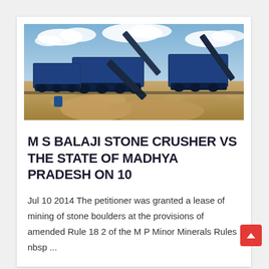[Figure (photo): Industrial stone crusher and mining equipment with conveyor belts and gravel piles, heavy machinery in a quarry setting under cloudy sky]
M S BALAJI STONE CRUSHER VS THE STATE OF MADHYA PRADESH ON 10
Jul 10 2014 The petitioner was granted a lease of mining of stone boulders at the provisions of amended Rule 18 2 of the M P Minor Minerals Rules nbsp ...